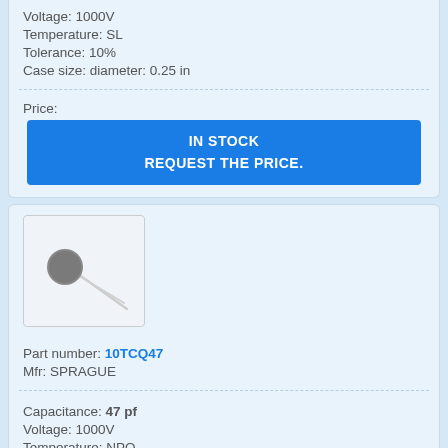Voltage: 1000V
Temperature: SL
Tolerance: 10%
Case size: diameter: 0.25 in
Price:
IN STOCK
REQUEST THE PRICE.
[Figure (photo): Electronic capacitor component with round gray body and two wire leads extending diagonally]
Part number: 10TCQ47
Mfr: SPRAGUE
Capacitance: 47 pf
Voltage: 1000V
Temperature: NPO
Tolerance: 5
Case size: diameter: 0.29 in
Price: $1.00